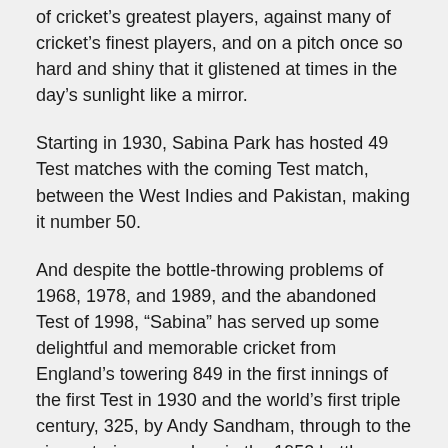of cricket's greatest players, against many of cricket's finest players, and on a pitch once so hard and shiny that it glistened at times in the day's sunlight like a mirror.
Starting in 1930, Sabina Park has hosted 49 Test matches with the coming Test match, between the West Indies and Pakistan, making it number 50.
And despite the bottle-throwing problems of 1968, 1978, and 1989, and the abandoned Test of 1998, “Sabina” has served up some delightful and memorable cricket from England's towering 849 in the first innings of the first Test in 1930 and the world’s first triple century, 325, by Andy Sandham, through to the six centuries served up in the 1953 battle between the West Indies, three, and India, three, to the seven centuries of 1955 between Australia, five in one the innings (the only time in the history of Test cricket), and the West Indies, two, to the West Indies and the first innings they scored 437...